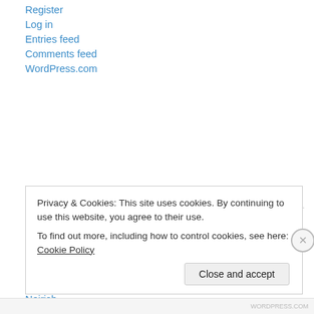Register
Log in
Entries feed
Comments feed
WordPress.com
Good Reads
Site Title
Patrick G. Cooper
shadowsandsatin
Noirish
Privacy & Cookies: This site uses cookies. By continuing to use this website, you agree to their use.
To find out more, including how to control cookies, see here: Cookie Policy
Close and accept